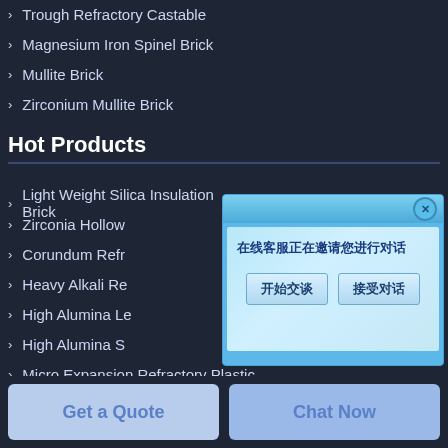Trough Refractory Castable
Magnesium Iron Spinel Brick
Mullite Brick
Zirconium Mullite Brick
Hot Products
Light Weight Silica Insulation Brick
Zirconia Hollow
Corundum Refr
Heavy Alkali Re
High Alumina Le
High Alumina S
Micro Expansion Refractory Plastic
Phosphate Refractory Mud
Magnesia Zircon Brick
Images Show
[Figure (screenshot): Chat popup dialog with Chinese text '在线客服正在邀请您进行对话' and two buttons '开始交谈' and '接受对话']
Get a Quote
Chat Now